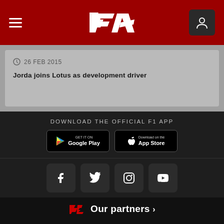F1 - Formula 1 header navigation
26 FEB 2015
Jorda joins Lotus as development driver
DOWNLOAD THE OFFICIAL F1 APP
[Figure (screenshot): Google Play store badge - GET IT ON Google Play]
[Figure (screenshot): Apple App Store badge - Download on the App Store]
[Figure (infographic): Social media icons: Facebook, Twitter, Instagram, YouTube]
Our partners >